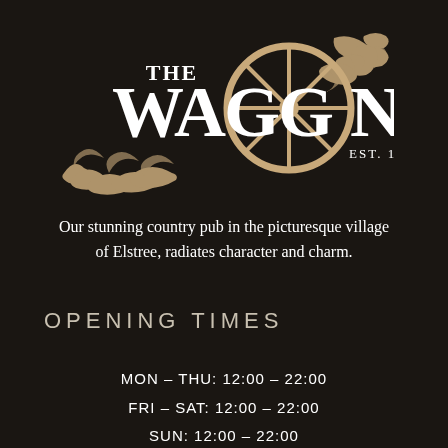[Figure (logo): The Waggon pub logo with large wagon wheel, decorative feather/flourish ornaments, text reading THE WAGGON EST. 1471 in white and tan/gold tones on black background]
Our stunning country pub in the picturesque village of Elstree, radiates character and charm.
OPENING TIMES
MON – THU: 12:00 – 22:00
FRI – SAT: 12:00 – 22:00
SUN: 12:00 – 22:00